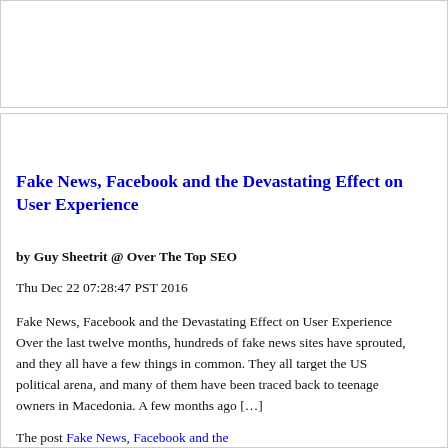Fake News, Facebook and the Devastating Effect on User Experience
by Guy Sheetrit @ Over The Top SEO
Thu Dec 22 07:28:47 PST 2016
Fake News, Facebook and the Devastating Effect on User Experience Over the last twelve months, hundreds of fake news sites have sprouted, and they all have a few things in common. They all target the US political arena, and many of them have been traced back to teenage owners in Macedonia. A few months ago […]
The post Fake News, Facebook and the